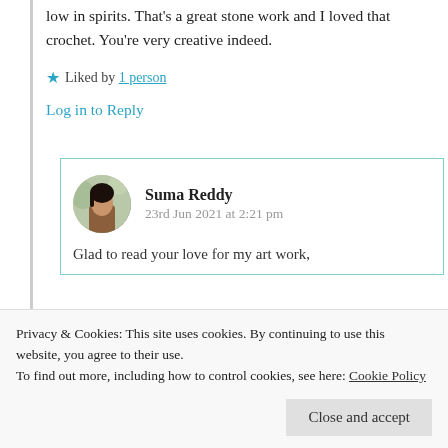low in spirits. That's a great stone work and I loved that crochet. You're very creative indeed.
★ Liked by 1 person
Log in to Reply
Suma Reddy
23rd Jun 2021 at 2:21 pm
Glad to read your love for my art work,
★ Liked by 1 person
Privacy & Cookies: This site uses cookies. By continuing to use this website, you agree to their use.
To find out more, including how to control cookies, see here: Cookie Policy
[Close and accept]